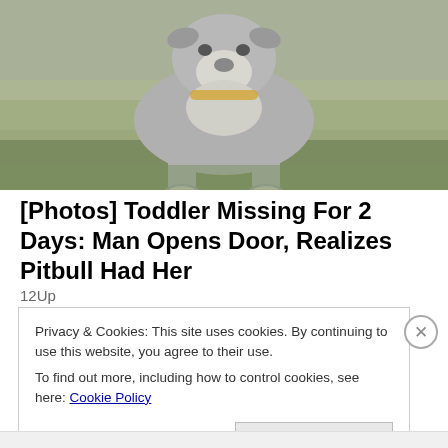[Figure (photo): A pitbull dog standing on grass, viewed from the front, gray and white coloring, outdoors.]
[Photos] Toddler Missing For 2 Days: Man Opens Door, Realizes Pitbull Had Her
12Up
Privacy & Cookies: This site uses cookies. By continuing to use this website, you agree to their use.
To find out more, including how to control cookies, see here: Cookie Policy
Close and accept